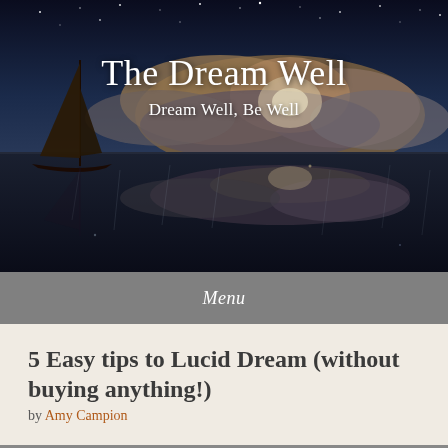[Figure (photo): Dreamy nighttime seascape with a sailboat on reflective water, moonlit clouds, and a starry sky. Dark blue tones with warm amber hues near the horizon.]
The Dream Well
Dream Well, Be Well
Menu
5 Easy tips to Lucid Dream (without buying anything!)
by Amy Campion